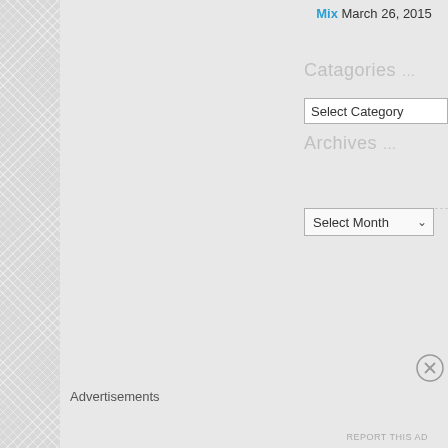Mix March 26, 2015
Catagories ...
Select Category
Archives ...
Select Month
Advertisements
REPORT THIS AD